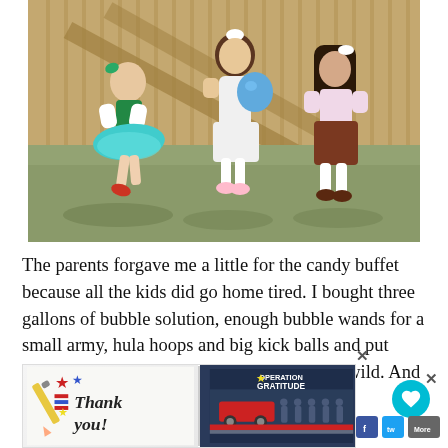[Figure (photo): Three young girls in dresses playing outdoors in a backyard. One girl wears a green/teal tutu dress with a green bow, another wears a white dress and holds a blue balloon, and the third wears a brown/maroon skirt with a white top and white tights. They are in front of a wooden fence with dry grass on the ground.]
The parents forgave me a little for the candy buffet because all the kids did go home tired. I bought three gallons of bubble solution, enough bubble wands for a small army, hula hoops and big kick balls and put them all in the back yard for the kids to run wild. And run they did
[Figure (photo): Advertisement banner. Left side shows 'Thank you!' written in handwritten style with a pencil graphic and patriotic star design. Right side shows Operation Gratitude logo with a group photo of military/first responders in front of a fire truck on dark background.]